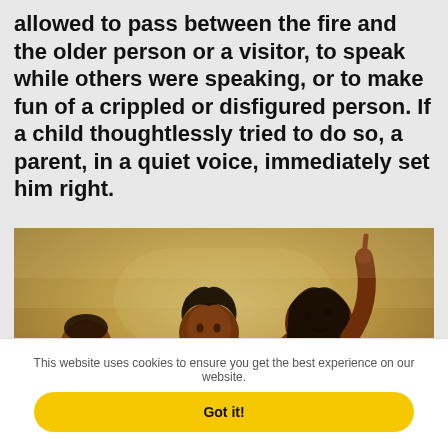allowed to pass between the fire and the older person or a visitor, to speak while others were speaking, or to make fun of a crippled or disfigured person. If a child thoughtlessly tried to do so, a parent, in a quiet voice, immediately set him right.
[Figure (illustration): A painting depicting a group of Native American figures. One figure on the right raises a finger pointing upward while appearing to speak, with other figures including children listening attentively. The painting has warm earth tones with ochre and brown hues.]
This website uses cookies to ensure you get the best experience on our website.
Got it!